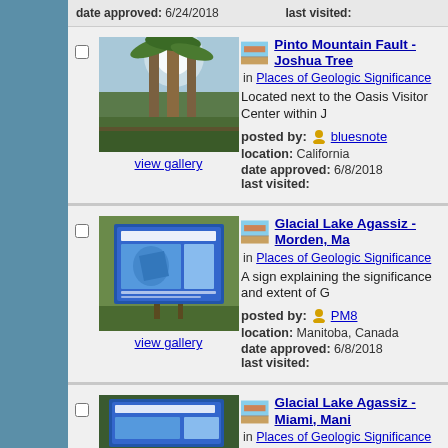date approved: 6/24/2018   last visited:
[Figure (photo): Photo of tall palm trees with sunlight, Pinto Mountain Fault - Joshua Tree]
Pinto Mountain Fault - Joshua Tree
in Places of Geologic Significance
Located next to the Oasis Visitor Center within J
posted by: bluesnote
location: California
date approved: 6/8/2018   last visited:
[Figure (photo): Photo of an interpretive sign for Glacial Lake Agassiz - Morden, Manitoba]
Glacial Lake Agassiz - Morden, Ma
in Places of Geologic Significance
A sign explaining the significance and extent of G
posted by: PM8
location: Manitoba, Canada
date approved: 6/8/2018   last visited:
[Figure (photo): Photo of Glacial Lake Agassiz - Miami, Manitoba interpretive sign]
Glacial Lake Agassiz - Miami, Mani
in Places of Geologic Significance